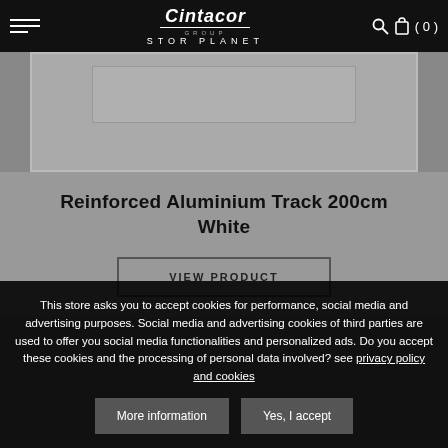Cintacor GROUP STOR PLANET
[Figure (photo): Product image area showing a grey rectangle with an inner lighter grey box, representing a product photo placeholder]
Reinforced Aluminium Track 200cm White
VIEW PRODUCT
This store asks you to accept cookies for performance, social media and advertising purposes. Social media and advertising cookies of third parties are used to offer you social media functionalities and personalized ads. Do you accept these cookies and the processing of personal data involved? see privacy policy and cookies
More information | Yes, I accept